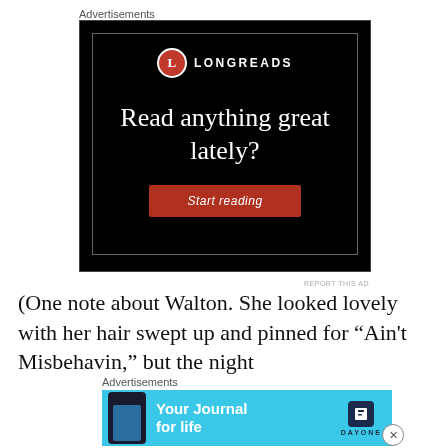Advertisements
[Figure (screenshot): Longreads advertisement on black background with red circular logo, white serif text 'Read anything great lately?' and a red 'Start reading' button]
REPORT THIS AD
(One note about Walton. She looked lovely with her hair swept up and pinned for “Ain't Misbehavin,” but the night
Advertisements
[Figure (screenshot): Day One 'Your Journal for life' advertisement on cyan/light blue background with phone image and Day One logo]